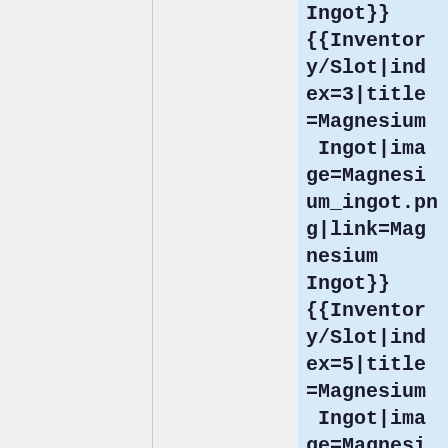Ingot}}
{{Inventory/Slot|index=3|title=Magnesium Ingot|image=Magnesium_ingot.png|link=Magnesium Ingot}}
{{Inventory/Slot|index=5|title=Magnesium Ingot|image=Magnesium_ingot.png|link=Magnesium Ingot}}
{{Inventor